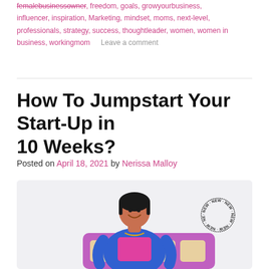femalebusinessowner, freedom, goals, growyourbusiness, influencer, inspiration, Marketing, mindset, moms, next-level, professionals, strategy, success, thoughtleader, women, women in business, workingmom   Leave a comment
How To Jumpstart Your Start-Up in 10 Weeks?
Posted on April 18, 2021 by Nerissa Malloy
[Figure (photo): A smiling woman in a blue blazer and pink top, standing behind a purple card/grid display. A circular 'NEW' badge appears in the upper right of the image.]